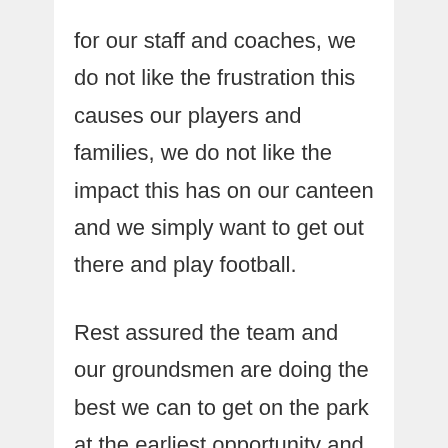for our staff and coaches, we do not like the frustration this causes our players and families, we do not like the impact this has on our canteen and we simply want to get out there and play football.
Rest assured the team and our groundsmen are doing the best we can to get on the park at the earliest opportunity and we thank you for your patience.
Stay tuned to our social media, Team